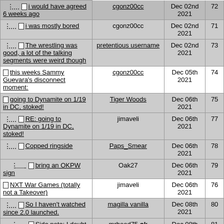| Title | Author | Date | # |
| --- | --- | --- | --- |
| [indent] i would have agreed 6 weeks ago | cgonz00cc | Dec 02nd 2021 | 72 |
| [indent] i was mostly bored | cgonz00cc | Dec 02nd 2021 | 71 |
| [indent] The wrestling was good, a lot of the talking segments were weird though | pretentious username | Dec 02nd 2021 | 73 |
| this weeks Sammy Guevara's disconnect moment: | cgonz00cc | Dec 05th 2021 | 74 |
| going to Dynamite on 1/19 in DC, stoked! | Tiger Woods | Dec 06th 2021 | 75 |
| [indent] RE: going to Dynamite on 1/19 in DC, stoked! | jimaveli | Dec 06th 2021 | 77 |
| [indent] Copped ringside | Paps_Smear | Dec 06th 2021 | 78 |
| [indent2] bring an OKPW sign | Oak27 | Dec 06th 2021 | 79 |
| NXT War Games (totally not a Takeover) | jimaveli | Dec 06th 2021 | 76 |
| [indent] So I haven't watched since 2.0 launched. | magilla vanilla | Dec 08th 2021 | 80 |
| [indent2] Side note: I doubt Gargano is on his | mrhood75 ok | Dec 08th 2021 | 81 |